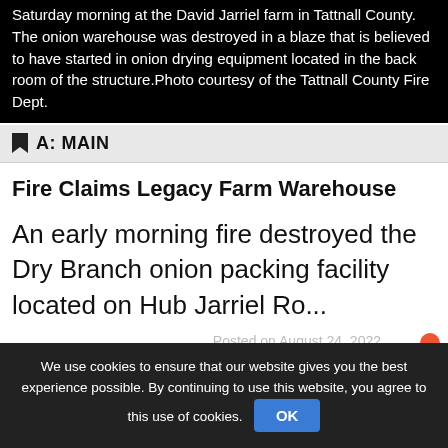Saturday morning at the David Jarriel farm in Tattnall County. The onion warehouse was destroyed in a blaze that is believed to have started in onion drying equipment located in the back room of the structure.Photo courtesy of the Tattnall County Fire Dept.
A: MAIN
Fire Claims Legacy Farm Warehouse
An early morning fire destroyed the Dry Branch onion packing facility located on Hub Jarriel Ro...
Posted on August 24, 2022
We use cookies to ensure that our website gives you the best experience possible. By continuing to use this website, you agree to this use of cookies.